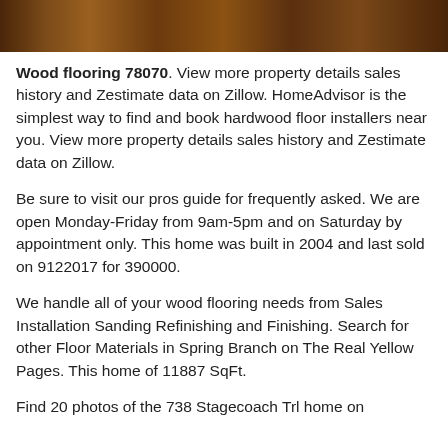[Figure (photo): Wood flooring photo showing dark hardwood planks]
Wood flooring 78070. View more property details sales history and Zestimate data on Zillow. HomeAdvisor is the simplest way to find and book hardwood floor installers near you. View more property details sales history and Zestimate data on Zillow.
Be sure to visit our pros guide for frequently asked. We are open Monday-Friday from 9am-5pm and on Saturday by appointment only. This home was built in 2004 and last sold on 9122017 for 390000.
We handle all of your wood flooring needs from Sales Installation Sanding Refinishing and Finishing. Search for other Floor Materials in Spring Branch on The Real Yellow Pages. This home of 11887 SqFt.
Find 20 photos of the 738 Stagecoach Trl home on